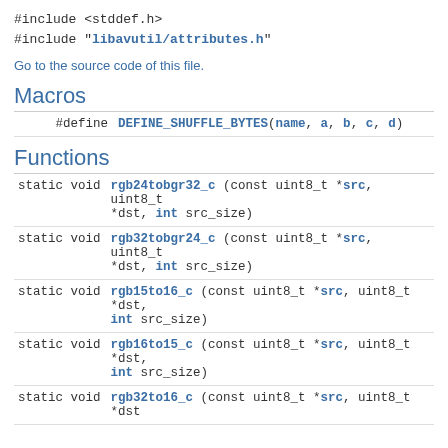#include <stddef.h>
#include "libavutil/attributes.h"
Go to the source code of this file.
Macros
|  |  |
| --- | --- |
| #define | DEFINE_SHUFFLE_BYTES(name, a, b, c, d) |
Functions
|  |  |
| --- | --- |
| static void | rgb24tobgr32_c (const uint8_t *src, uint8_t *dst, int src_size) |
| static void | rgb32tobgr24_c (const uint8_t *src, uint8_t *dst, int src_size) |
| static void | rgb15to16_c (const uint8_t *src, uint8_t *dst, int src_size) |
| static void | rgb16to15_c (const uint8_t *src, uint8_t *dst, int src_size) |
| static void | rgb32to16_c (const uint8_t *src, uint8_t *dst |